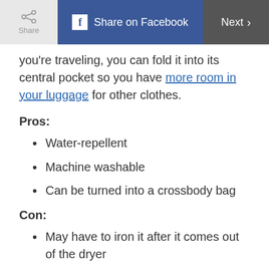Share | Share on Facebook | Next
you're traveling, you can fold it into its central pocket so you have more room in your luggage for other clothes.
Pros:
Water-repellent
Machine washable
Can be turned into a crossbody bag
Con:
May have to iron it after it comes out of the dryer
Shop Now